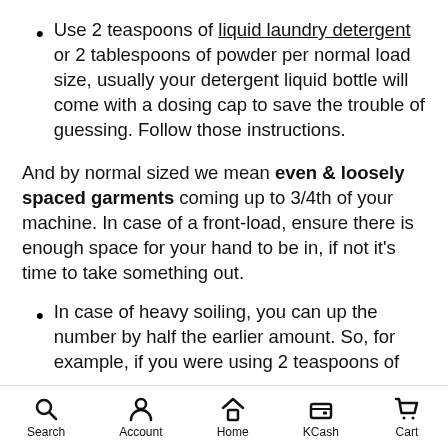Use 2 teaspoons of liquid laundry detergent or 2 tablespoons of powder per normal load size, usually your detergent liquid bottle will come with a dosing cap to save the trouble of guessing. Follow those instructions.
And by normal sized we mean even & loosely spaced garments coming up to 3/4th of your machine. In case of a front-load, ensure there is enough space for your hand to be in, if not it's time to take something out.
In case of heavy soiling, you can up the number by half the earlier amount. So, for example, if you were using 2 teaspoons of liquid laundry detergent for a normal load, that...
Search  Account  Home  KCash  Cart